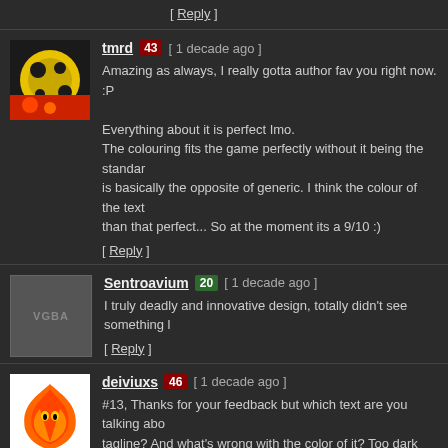[ Reply ]
tmrd 43 [ 1 decade ago ]
Amazing as always, I really gotta author fav you right now. :P

Everything about it is perfect Imo.
The colouring fits the game perfectly without it being the standard is basically the opposite of generic. I think the colour of the text o than that perfect... So at the moment its a 9/10 :)
[ Reply ]
Sentroavium 20 [ 1 decade ago ]
I truly deadly and innovative design, totally didn't see something l
[ Reply ]
deiviuxs 46 [ 1 decade ago ]
#13, Thanks for your feedback but which text are you talking abo tagline? And what's wrong with the color of it? Too dark and hard reading the text in the full size.
[ Reply ]